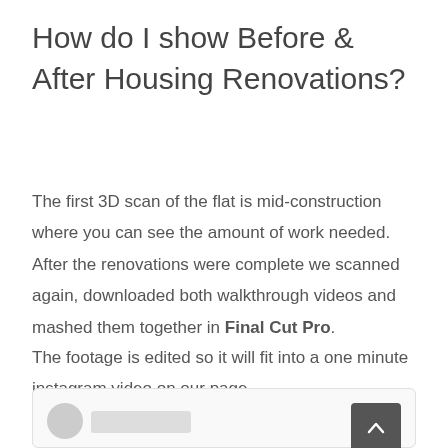How do I show Before & After Housing Renovations?
The first 3D scan of the flat is mid-construction where you can see the amount of work needed. After the renovations were complete we scanned again, downloaded both walkthrough videos and mashed them together in Final Cut Pro.
The footage is edited so it will fit into a one minute instagram video on our page.
[Figure (screenshot): Bottom of page card/comment section with a scroll-to-top button (dark gray square with upward chevron), a circular avatar placeholder, and a name/label placeholder bar.]